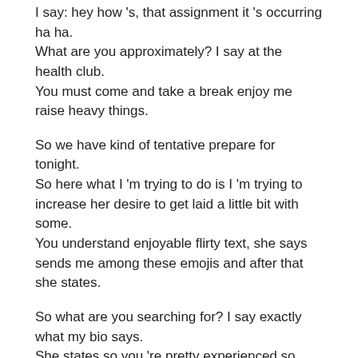I say: hey how 's, that assignment it 's occurring ha ha. What are you approximately? I say at the health club. You must come and take a break enjoy me raise heavy things.
So we have kind of tentative prepare for tonight. So here what I 'm trying to do is I 'm trying to increase her desire to get laid a little bit with some. You understand enjoyable flirty text, she says sends me among these emojis and after that she states.
So what are you searching for? I say exactly what my bio says. She states so you 're pretty experienced so here she 's, attempting to collect more information, she 's attempting to choose. You know whether you understand it 's worth her time to.
Actually you know come over and hang out with me or you understand whether she must just do her Simon X instead so she 's interested, however she hasn ' t completely chose that she 's going to settle.